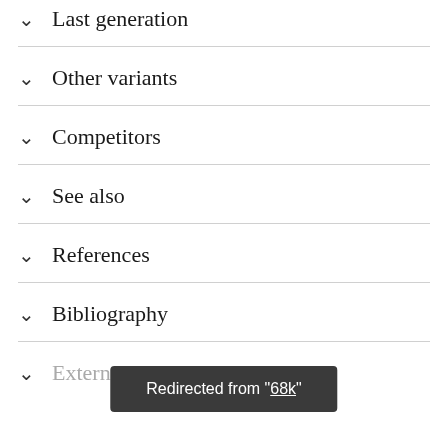Last generation
Other variants
Competitors
See also
References
Bibliography
External links
Redirected from "68k"